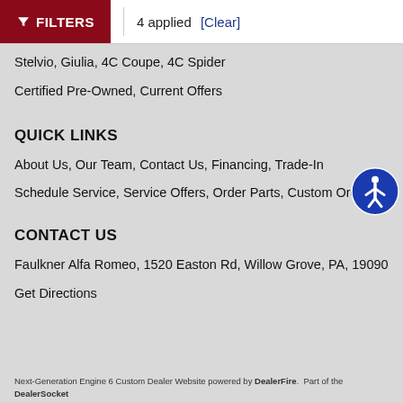[Figure (screenshot): Filters button bar with dark red background showing funnel icon and FILTERS text, a vertical divider, '4 applied' text, and a '[Clear]' link]
Stelvio, Giulia, 4C Coupe, 4C Spider
Certified Pre-Owned, Current Offers
QUICK LINKS
About Us, Our Team, Contact Us, Financing, Trade-In
Schedule Service, Service Offers, Order Parts, Custom Order
CONTACT US
Faulkner Alfa Romeo, 1520 Easton Rd, Willow Grove, PA, 19090
Get Directions
Next-Generation Engine 6 Custom Dealer Website powered by DealerFire. Part of the DealerSocket